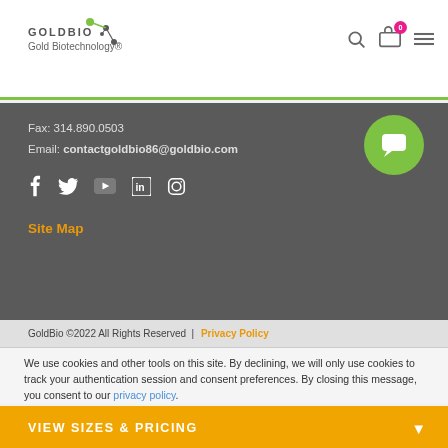GOLDBIO Gold Biotechnology®
Fax: 314.890.0503
Email: contactgoldbio86@goldbio.com
f  y  ▶  in  ⊙
Site Map
GoldBio ©2022 All Rights Reserved | Privacy Policy
We use cookies and other tools on this site. By declining, we will only use cookies to track your authentication session and consent preferences. By closing this message, you consent to our privacy policy.
ACCEPT AND CLOSE
VIEW SIZES & PRICING